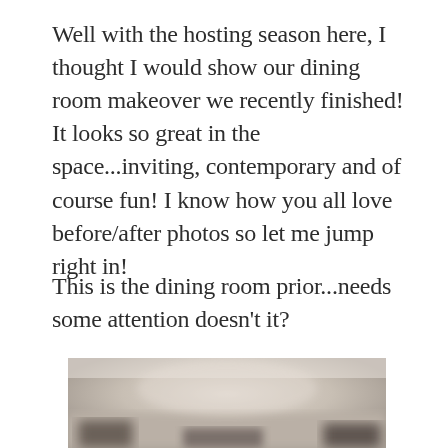Well with the hosting season here, I thought I would show our dining room makeover we recently finished! It looks so great in the space...inviting, contemporary and of course fun! I know how you all love before/after photos so let me jump right in!
This is the dining room prior...needs some attention doesn't it?
[Figure (photo): A blurry/blurred photograph of a dining room interior, showing the space before a makeover. The image shows muted beige and grey tones with some furniture shapes visible at the bottom.]